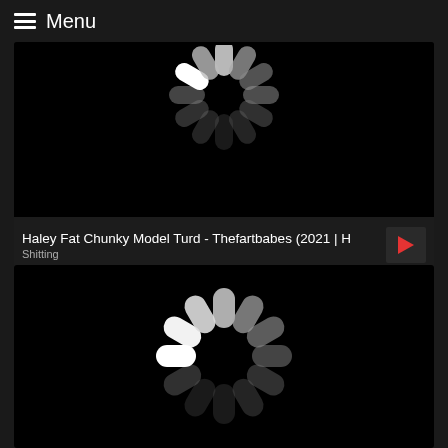Menu
[Figure (screenshot): Video thumbnail showing loading spinner on black background]
Haley Fat Chunky Model Turd - Thefartbabes (2021 | H
Shitting
[Figure (screenshot): Video thumbnail showing loading spinner on black background]